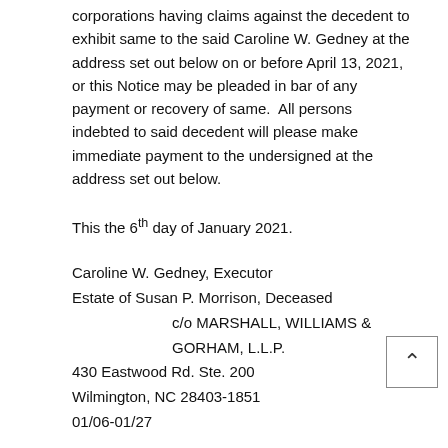corporations having claims against the decedent to exhibit same to the said Caroline W. Gedney at the address set out below on or before April 13, 2021, or this Notice may be pleaded in bar of any payment or recovery of same.  All persons indebted to said decedent will please make immediate payment to the undersigned at the address set out below.
This the 6th day of January 2021.
Caroline W. Gedney, Executor
Estate of Susan P. Morrison, Deceased
    c/o MARSHALL, WILLIAMS & GORHAM, L.L.P.
430 Eastwood Rd. Ste. 200
Wilmington, NC 28403-1851
01/06-01/27
Notice to Creditors
STATE OF NORTH...